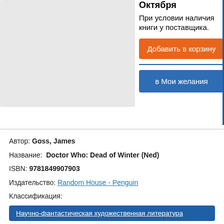[Figure (other): Gray placeholder book cover image block]
Октября
При условии наличия книги у поставщика.
Добавить в корзину
в Мои желания
Автор: Goss, James
Название: Doctor Who: Dead of Winter (Ned)
ISBN: 9781849907903
Издательство: Random House - Penguin
Классификация:
Научно-фантастическая художественная литература
ISBN-10: 1849907900